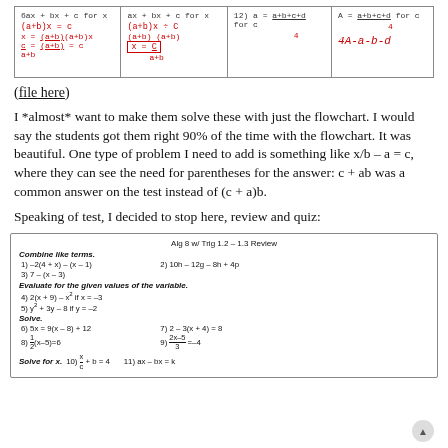[Figure (other): Handwritten math worksheet showing steps for solving equations in four columns]
(file here)
I *almost* want to make them solve these with just the flowchart. I would say the students got them right 90% of the time with the flowchart. It was beautiful. One type of problem I need to add is something like x/b – a = c, where they can see the need for parentheses for the answer: c + ab was a common answer on the test instead of (c + a)b.
Speaking of test, I decided to stop here, review and quiz:
[Figure (other): Algebra worksheet titled 'Alg 8 w/ Trig 1.2 – 1.3 Review' with problems on combining like terms, evaluating expressions, solving equations, and solving for x.]